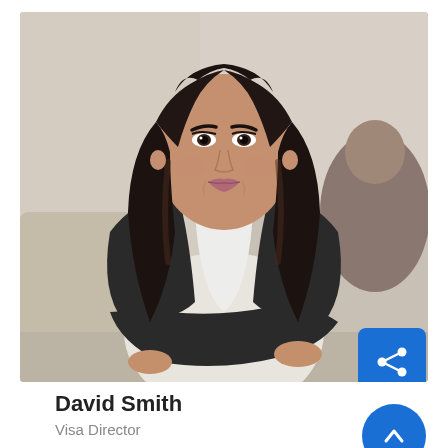[Figure (photo): Professional headshot of a woman with long dark hair, wearing a dark blazer over a white top, arms crossed, smiling, in an office-like background. The profile card is for David Smith, Visa Director.]
David Smith
Visa Director